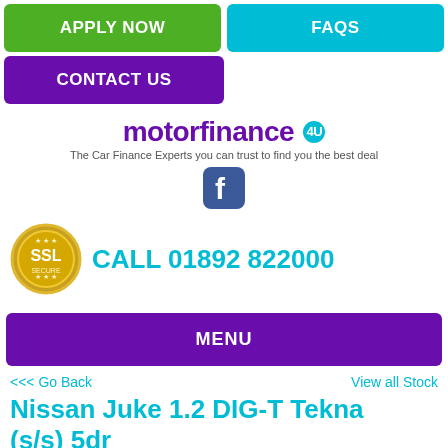[Figure (other): Navigation buttons: APPLY NOW (green), FAQS (cyan), CONTACT US (purple)]
[Figure (logo): motorfinance 4U logo with tagline 'The Car Finance Experts you can trust to find you the best deal' and Facebook icon]
[Figure (other): SSL badge and phone number: CALL 01892 822000]
MENU
<<< Go Back
View all Stock
Nissan Juke 1.2 DIG-T Tekna (s/s) 5dr
£7,990